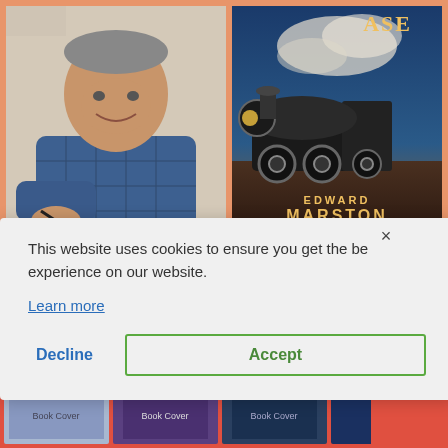[Figure (photo): Photo of author (man in blue plaid shirt smiling, holding a pen, signing books) on left, and book cover showing a steam train with text 'CASE' at top and 'EDWARD MARSTON' at bottom on right, both against an orange/tan background]
[Figure (screenshot): Cookie consent dialog overlay with text 'This website uses cookies to ensure you get the best experience on our website.' with a 'Learn more' link and two buttons: 'Decline' and 'Accept']
This website uses cookies to ensure you get the best experience on our website.
Learn more
Decline
Accept
[Figure (photo): Row of book cover thumbnails at bottom of page, partially visible]